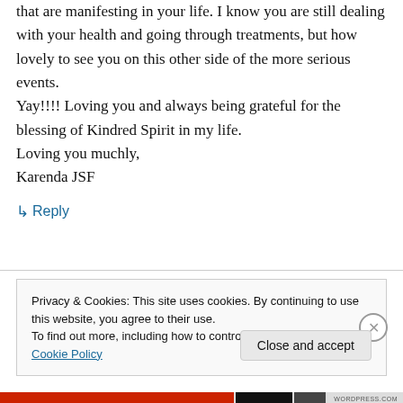that are manifesting in your life. I know you are still dealing with your health and going through treatments, but how lovely to see you on this other side of the more serious events. Yay!!!! Loving you and always being grateful for the blessing of Kindred Spirit in my life. Loving you muchly, Karenda JSF
↳ Reply
Privacy & Cookies: This site uses cookies. By continuing to use this website, you agree to their use. To find out more, including how to control cookies, see here: Cookie Policy
Close and accept